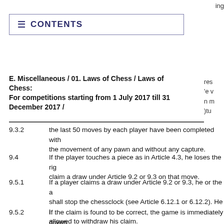ing
CONTENTS
E. Miscellaneous / 01. Laws of Chess / Laws of Chess: For competitions starting from 1 July 2017 till 31 December 2017 /
9.3.2	the last 50 moves by each player have been completed without the movement of any pawn and without any capture.
9.4	If the player touches a piece as in Article 4.3, he loses the right to claim a draw under Article 9.2 or 9.3 on that move.
9.5.1	If a player claims a draw under Article 9.2 or 9.3, he or the arbiter shall stop the chessclock (see Article 6.12.1 or 6.12.2). He is not allowed to withdraw his claim.
9.5.2	If the claim is found to be correct, the game is immediately drawn.
9.5.3	If the claim is found to be incorrect, the arbiter shall add two minutes to the opponent's remaining thinking time. Then the game shall continue. If the claim was based on an intended